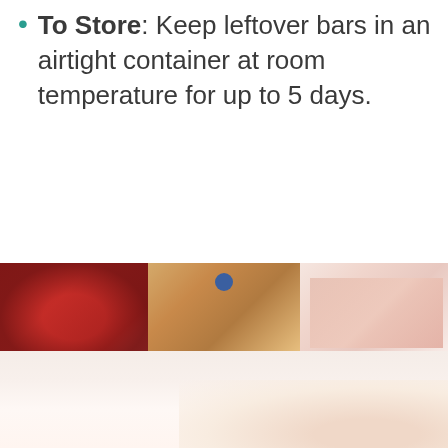To Store: Keep leftover bars in an airtight container at room temperature for up to 5 days.
[Figure (photo): Three food photos in a collage: left panel shows red cranberries or cherries in a bowl, middle panel shows an oat bar or baked good topped with a blueberry, right panel shows a partially visible food item with pink/red text overlay. Below is a blurred close-up of a light-colored food item on a white surface.]